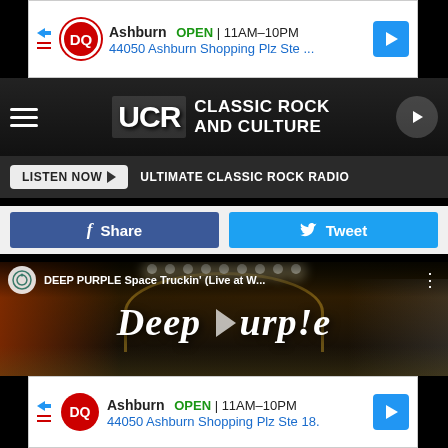[Figure (screenshot): Dairy Queen advertisement banner showing Ashburn location, OPEN 11AM-10PM, 44050 Ashburn Shopping Plz Ste ...]
[Figure (screenshot): Ultimate Classic Rock (UCR) website header with logo, hamburger menu, Classic Rock and Culture branding, play button, Listen Now button, and ULTIMATE CLASSIC ROCK RADIO text]
[Figure (screenshot): Social share buttons: Facebook Share and Twitter Tweet]
[Figure (screenshot): YouTube video embed for DEEP PURPLE Space Truckin' (Live at W... showing Deep Purple band name overlay and play button on concert footage]
[Figure (screenshot): Dairy Queen advertisement banner at bottom showing Ashburn location, OPEN 11AM-10PM, 44050 Ashburn Shopping Plz Ste 18.]